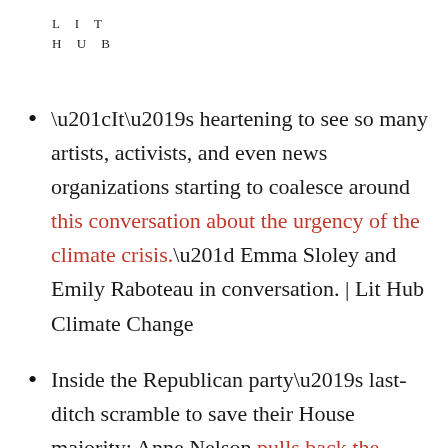LIT HUB
“It’s heartening to see so many artists, activists, and even news organizations starting to coalesce around this conversation about the urgency of the climate crisis.” Emma Sloley and Emily Raboteau in conversation. | Lit Hub Climate Change
Inside the Republican party’s last-ditch scramble to save their House majority: Anne Nelson pulls back the curtain on the 2018 midterms. | Lit Hub Politics